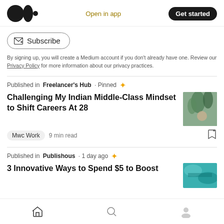Medium logo | Open in app | Get started
Subscribe button
By signing up, you will create a Medium account if you don't already have one. Review our Privacy Policy for more information about our privacy practices.
Published in Freelancer's Hub · Pinned ✦
Challenging My Indian Middle-Class Mindset to Shift Careers At 28
Mwc Work  9 min read
Published in Publishous · 1 day ago ✦
3 Innovative Ways to Spend $5 to Boost
Home | Search | Profile navigation icons